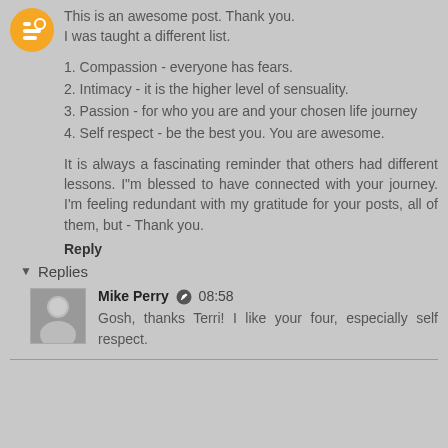This is an awesome post. Thank you.
I was taught a different list.
1. Compassion - everyone has fears.
2. Intimacy - it is the higher level of sensuality.
3. Passion - for who you are and your chosen life journey
4. Self respect - be the best you. You are awesome.
It is always a fascinating reminder that others had different lessons. I"m blessed to have connected with your journey. I'm feeling redundant with my gratitude for your posts, all of them, but - Thank you.
Reply
Replies
Mike Perry  08:58
Gosh, thanks Terri! I like your four, especially self respect.